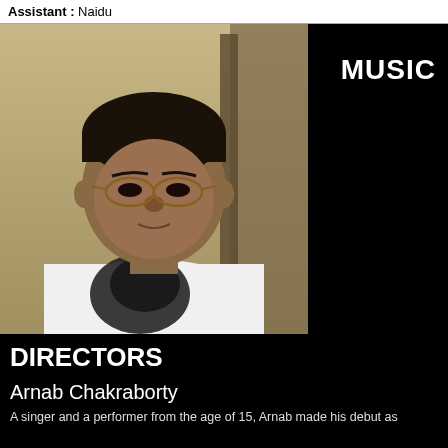Assistant : Naidu
[Figure (photo): Portrait photo of Arnab Chakraborty, a man wearing glasses and a white t-shirt with a dark graphic print, against a light background]
MUSIC
DIRECTORS
Arnab Chakraborty
A singer and a performer from the age of 15, Arnab made his debut as